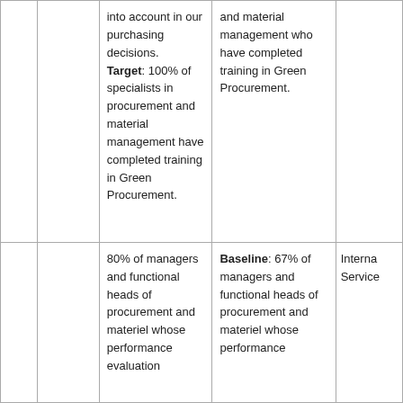|  |  | into account in our purchasing decisions. Target: 100% of specialists in procurement and material management have completed training in Green Procurement. | and material management who have completed training in Green Procurement. |  |
|  |  | 80% of managers and functional heads of procurement and materiel whose performance evaluation | Baseline: 67% of managers and functional heads of procurement and materiel whose performance | Interna Service |